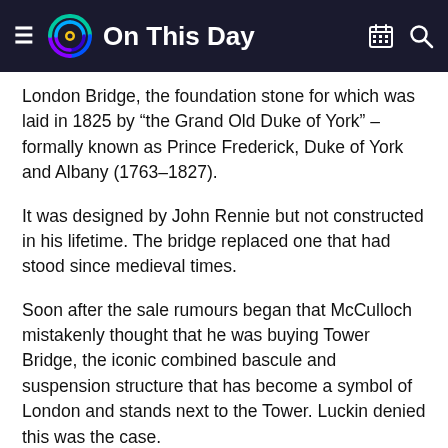On This Day
London Bridge, the foundation stone for which was laid in 1825 by “the Grand Old Duke of York” – formally known as Prince Frederick, Duke of York and Albany (1763–1827).
It was designed by John Rennie but not constructed in his lifetime. The bridge replaced one that had stood since medieval times.
Soon after the sale rumours began that McCulloch mistakenly thought that he was buying Tower Bridge, the iconic combined bascule and suspension structure that has become a symbol of London and stands next to the Tower. Luckin denied this was the case.
The rumour is also dismissed in the book, London Bridge in America by Travis Elborough (Jonathan Cape), which tells the complete story. The author points out that